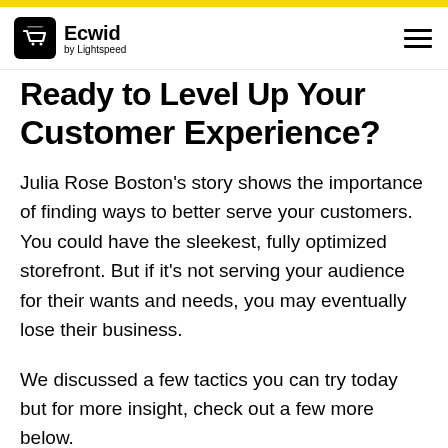Ecwid by Lightspeed
Ready to Level Up Your Customer Experience?
Julia Rose Boston's story shows the importance of finding ways to better serve your customers. You could have the sleekest, fully optimized storefront. But if it's not serving your audience for their wants and needs, you may eventually lose their business.
We discussed a few tactics you can try today but for more insight, check out a few more below.